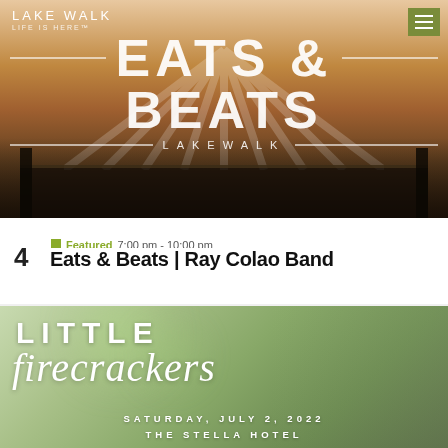[Figure (photo): Eats & Beats at LakeWalk banner image showing a band performing on stage at sunset with the text 'EATS & BEATS' and 'LAKEWALK' overlaid in large white letters. LakeWalk logo in top left, hamburger menu in top right corner.]
JUN 4  Featured  7:00 pm - 10:00 pm
Eats & Beats | Ray Colao Band
[Figure (photo): Little Firecrackers event banner showing a young blonde girl with a red bow and patriotic pinwheel on a green blurred background, with text overlaid: 'LITTLE firecrackers SATURDAY, JULY 2, 2022 THE STELLA HOTEL']